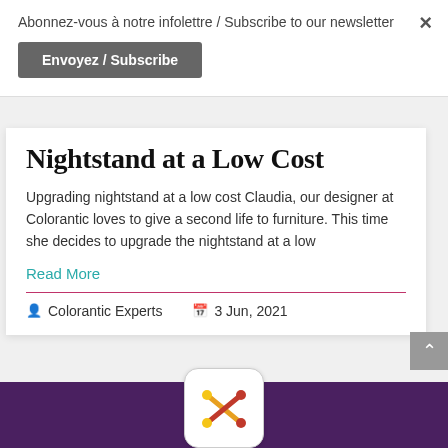Abonnez-vous à notre infolettre / Subscribe to our newsletter
Envoyez / Subscribe
Nightstand at a Low Cost
Upgrading nightstand at a low cost Claudia, our designer at Colorantic loves to give a second life to furniture. This time she decides to upgrade the nightstand at a low
Read More
Colorantic Experts   3 Jun, 2021
[Figure (logo): Colorantic logo with crossed paintbrushes in a white rounded square badge on a purple footer background]